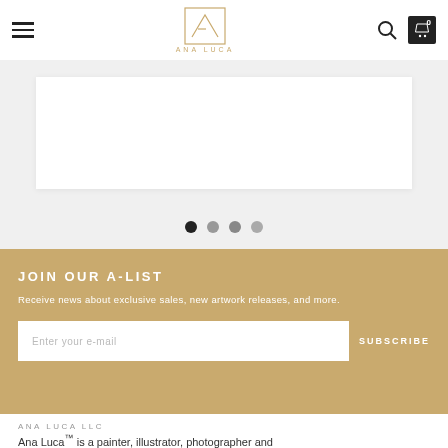ANA LUCA
[Figure (screenshot): Slider/carousel card area showing a white card on light gray background with four navigation dots below]
JOIN OUR A-LIST
Receive news about exclusive sales, new artwork releases, and more.
Enter your e-mail  SUBSCRIBE
ANA LUCA LLC
Ana Luca™ is a painter, illustrator, photographer and